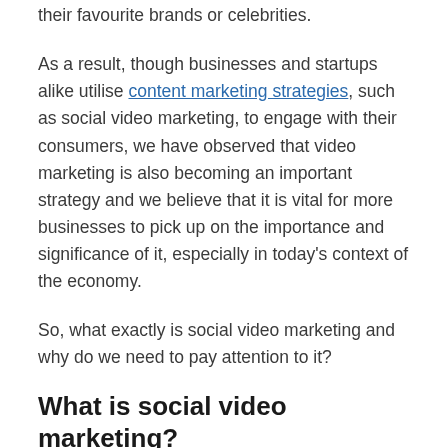their favourite brands or celebrities.
As a result, though businesses and startups alike utilise content marketing strategies, such as social video marketing, to engage with their consumers, we have observed that video marketing is also becoming an important strategy and we believe that it is vital for more businesses to pick up on the importance and significance of it, especially in today's context of the economy.
So, what exactly is social video marketing and why do we need to pay attention to it?
What is social video marketing?
One common domain that many people in the